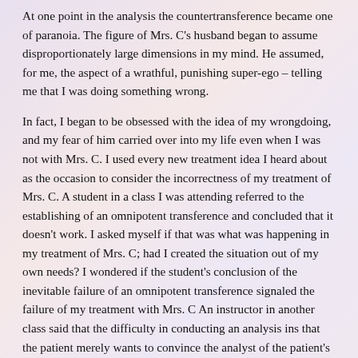At one point in the analysis the countertransference became one of paranoia. The figure of Mrs. C's husband began to assume disproportionately large dimensions in my mind. He assumed, for me, the aspect of a wrathful, punishing super-ego – telling me that I was doing something wrong.
In fact, I began to be obsessed with the idea of my wrongdoing, and my fear of him carried over into my life even when I was not with Mrs. C. I used every new treatment idea I heard about as the occasion to consider the incorrectness of my treatment of Mrs. C. A student in a class I was attending referred to the establishing of an omnipotent transference and concluded that it doesn't work. I asked myself if that was what was happening in my treatment of Mrs. C; had I created the situation out of my own needs? I wondered if the student's conclusion of the inevitable failure of an omnipotent transference signaled the failure of my treatment with Mrs. C An instructor in another class said that the difficulty in conducting an analysis ins that the patient merely wants to convince the analyst of the patient's point of view, and the analyst wants to convince the patient of the analyst's point of